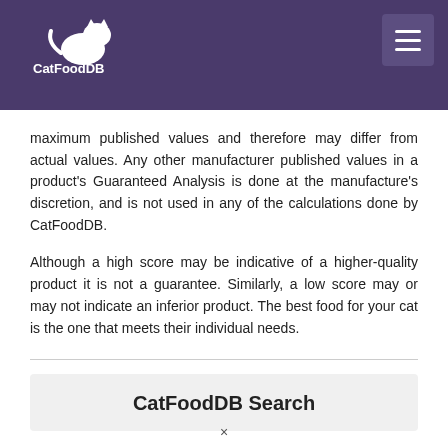[Figure (logo): CatFoodDB logo in white on dark purple background]
maximum published values and therefore may differ from actual values. Any other manufacturer published values in a product's Guaranteed Analysis is done at the manufacture's discretion, and is not used in any of the calculations done by CatFoodDB.
Although a high score may be indicative of a higher-quality product it is not a guarantee. Similarly, a low score may or may not indicate an inferior product. The best food for your cat is the one that meets their individual needs.
CatFoodDB Search